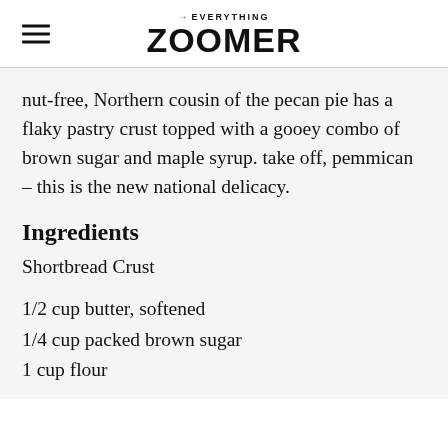→EVERYTHING ZOOMER
nut-free, Northern cousin of the pecan pie has a flaky pastry crust topped with a gooey combo of brown sugar and maple syrup. take off, pemmican – this is the new national delicacy.
Ingredients
Shortbread Crust
1/2 cup butter, softened
1/4 cup packed brown sugar
1 cup flour